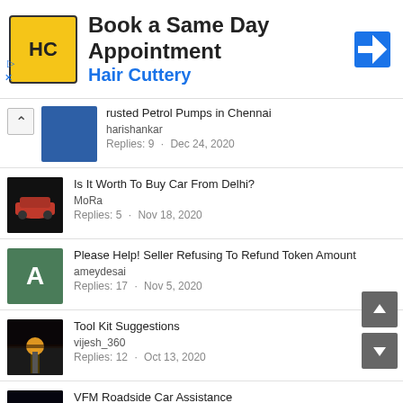[Figure (other): Hair Cuttery advertisement banner with logo and navigation icon]
Trusted Petrol Pumps in Chennai
harishankar
Replies: 9 · Dec 24, 2020
Is It Worth To Buy Car From Delhi?
MoRa
Replies: 5 · Nov 18, 2020
Please Help! Seller Refusing To Refund Token Amount
ameydesai
Replies: 17 · Nov 5, 2020
Tool Kit Suggestions
vijesh_360
Replies: 12 · Oct 13, 2020
VFM Roadside Car Assistance
vaibhav
Replies: 4 · Sep 17, 2020